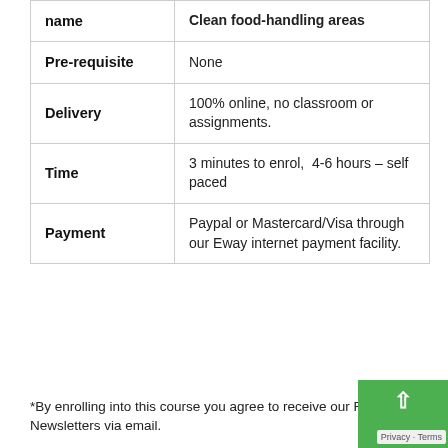| name | Clean food-handling areas |
| --- | --- |
| Pre-requisite | None |
| Delivery | 100% online, no classroom or assignments. |
| Time | 3 minutes to enrol,  4-6 hours – self paced |
| Payment | Paypal or Mastercard/Visa through our Eway internet payment facility. |
*By enrolling into this course you agree to receive our Rapid Newsletters via email.